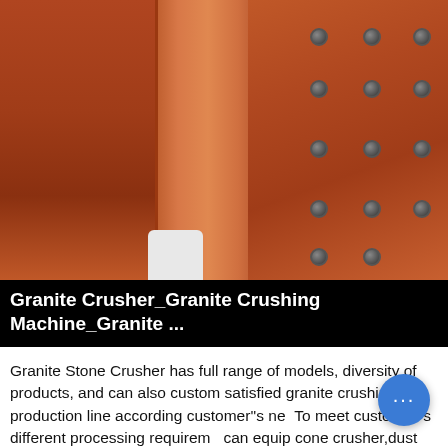[Figure (photo): Close-up photograph of rust-orange granite crusher machinery showing metal crushing plates and bolts]
Granite Crusher_Granite Crushing Machine_Granite ...
Granite Stone Crusher has full range of models, diversity of products, and can also custom satisfied granite crushing production line according customer''s ne... To meet customer''s different processing requirem... can equip cone crusher,dust removal equipment... on. The designed capacity is 50-500t/h.